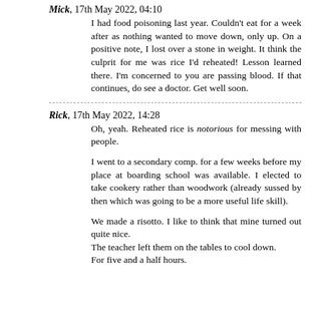Mick, 17th May 2022, 04:10
I had food poisoning last year. Couldn't eat for a week after as nothing wanted to move down, only up. On a positive note, I lost over a stone in weight. It think the culprit for me was rice I'd reheated! Lesson learned there. I'm concerned to you are passing blood. If that continues, do see a doctor. Get well soon.
Rick, 17th May 2022, 14:28
Oh, yeah. Reheated rice is notorious for messing with people.
I went to a secondary comp. for a few weeks before my place at boarding school was available. I elected to take cookery rather than woodwork (already sussed by then which was going to be a more useful life skill).
We made a risotto. I like to think that mine turned out quite nice.
The teacher left them on the tables to cool down.
For five and a half hours.